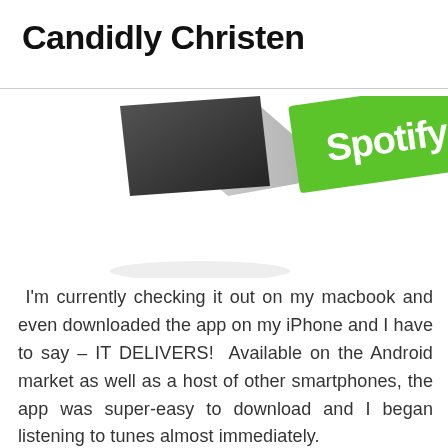Candidly Christen
[Figure (photo): Partial view of a smartphone with a green Spotify branded sticker/overlay on a white background]
I'm currently checking it out on my macbook and even downloaded the app on my iPhone and I have to say – IT DELIVERS! Available on the Android market as well as a host of other smartphones, the app was super-easy to download and I began listening to tunes almost immediately.